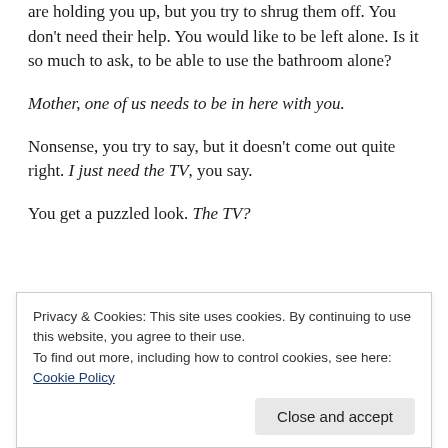are holding you up, but you try to shrug them off. You don't need their help. You would like to be left alone. Is it so much to ask, to be able to use the bathroom alone?
Mother, one of us needs to be in here with you.
Nonsense, you try to say, but it doesn't come out quite right. I just need the TV, you say.
You get a puzzled look. The TV?
Privacy & Cookies: This site uses cookies. By continuing to use this website, you agree to their use.
To find out more, including how to control cookies, see here: Cookie Policy